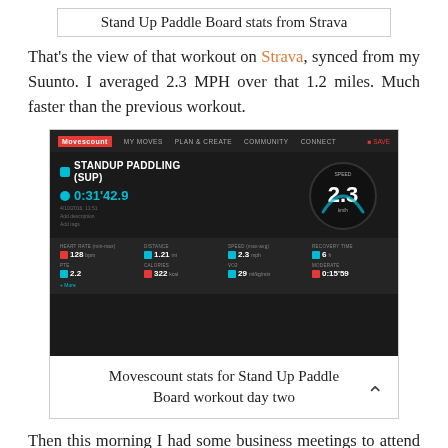Stand Up Paddle Board stats from Strava
That’s the view of that workout on Strava, synced from my Suunto. I averaged 2.3 MPH over that 1.2 miles. Much faster than the previous workout.
[Figure (screenshot): Movescount app screenshot showing Standup Paddling (SUP) workout: time 0:31’42.9, speed 2.3, heart rate 128, distance 1.21, speed 2.3, recovery time 6h, PTE 2.2, calories 322, VO2 29, moderate 0:15⁙58]
Movescount stats for Stand Up Paddle Board workout day two
Then this morning I had some business meetings to attend and my side hurt quite a bit so I did some mountain bike